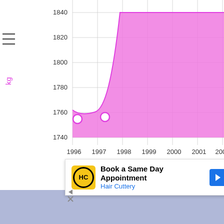[Figure (area-chart): Area chart showing weight in kg from 1996 to 2002. The line starts around 1754 in 1996, dips slightly to about 1753 near 1996-1997, then curves up sharply around 1997-1998 to plateau near 1840 from 1998 onwards. Two data point circles visible near 1996 (~1754) and 1997 (~1755). The area under the curve is filled in pink/magenta.]
[Figure (screenshot): Advertisement overlay: Hair Cuttery 'Book a Same Day Appointment' ad with yellow HC logo, blue arrow button. Below ad are small close/skip controls.]